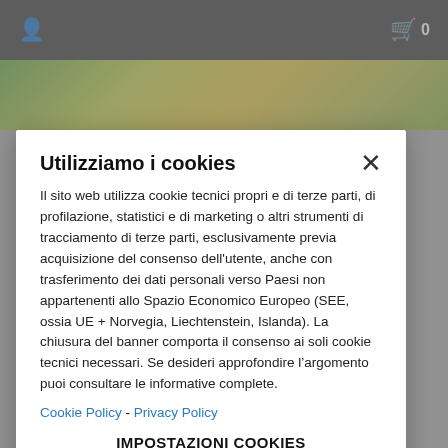[Figure (screenshot): Top navigation bar with user icon on left and shopping cart icon with '0' count on right, dark grey background]
[Figure (photo): Colorful map image strip showing terrain in yellow, green and brown tones]
Utilizziamo i cookies
Il sito web utilizza cookie tecnici propri e di terze parti, di profilazione, statistici e di marketing o altri strumenti di tracciamento di terze parti, esclusivamente previa acquisizione del consenso dell'utente, anche con trasferimento dei dati personali verso Paesi non appartenenti allo Spazio Economico Europeo (SEE, ossia UE + Norvegia, Liechtenstein, Islanda). La chiusura del banner comporta il consenso ai soli cookie tecnici necessari. Se desideri approfondire l'argomento puoi consultare le informative complete.
Cookie Policy - Privacy Policy
IMPOSTAZIONI COOKIES
ACCETTA I COOKIES NECESSARI
ACCETTA TUTTI I COOKIES